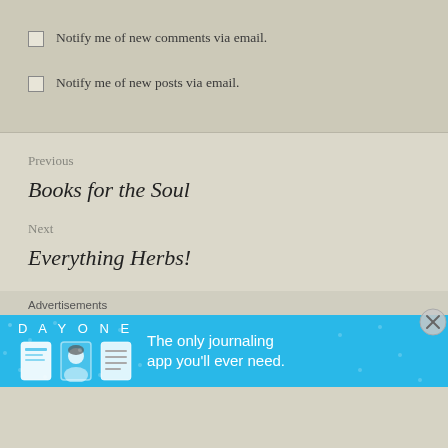Notify me of new comments via email.
Notify me of new posts via email.
Previous
Books for the Soul
Next
Everything Herbs!
Advertisements
[Figure (other): Day One journaling app advertisement banner with blue background showing app icons and text: The only journaling app you'll ever need.]